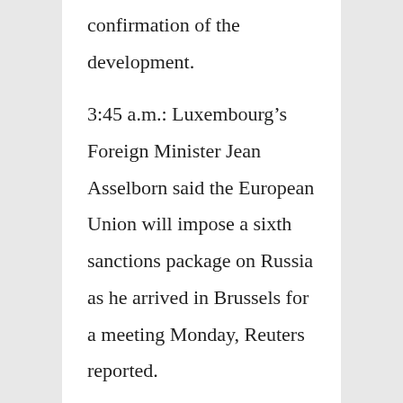confirmation of the development.
3:45 a.m.: Luxembourg’s Foreign Minister Jean Asselborn said the European Union will impose a sixth sanctions package on Russia as he arrived in Brussels for a meeting Monday, Reuters reported.
“There really is no excuse not to get the package done,” Asselborn said, speaking to